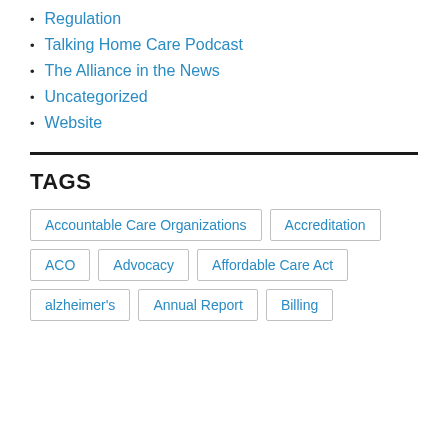Regulation
Talking Home Care Podcast
The Alliance in the News
Uncategorized
Website
TAGS
Accountable Care Organizations
Accreditation
ACO
Advocacy
Affordable Care Act
alzheimer's
Annual Report
Billing